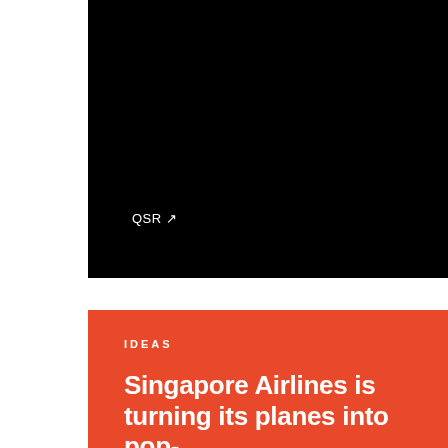[Figure (photo): Black image/video thumbnail with 'QSR ↗' link text in white in the lower left area]
IDEAS
Singapore Airlines is turning its planes into pop-